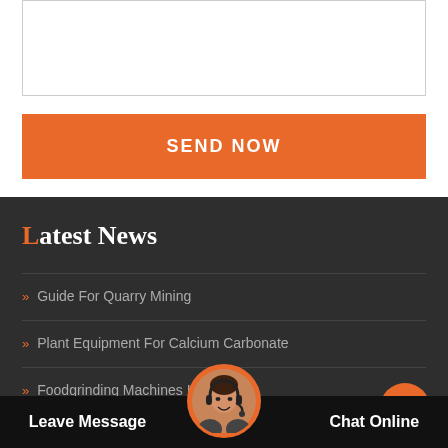[Figure (other): Empty white text input box with thin grey border]
SEND NOW
Latest News
Guide For Quarry Mining
Plant Equipment For Calcium Carbonate
Foodgrinding Machines In S...
Pakistan Ai Crushers Manage... g Plant
Leave Message   Chat Online